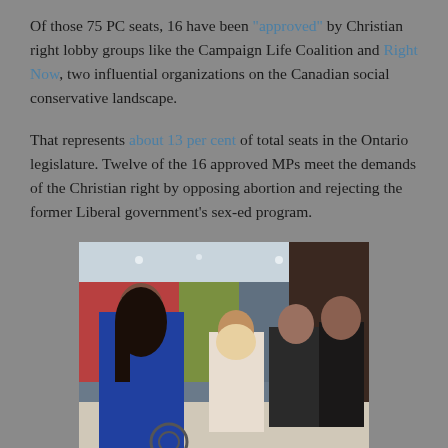Of those 75 PC seats, 16 have been "approved" by Christian right lobby groups like the Campaign Life Coalition and Right Now, two influential organizations on the Canadian social conservative landscape.
That represents about 13 per cent of total seats in the Ontario legislature. Twelve of the 16 approved MPs meet the demands of the Christian right by opposing abortion and rejecting the former Liberal government's sex-ed program.
[Figure (photo): Photo of people in a TV studio setting. A woman in a blue blazer stands in the foreground, with other people visible in the background near colorful studio backdrops.]
The Christian right credits itself for Ford's victory in June. Though its number one